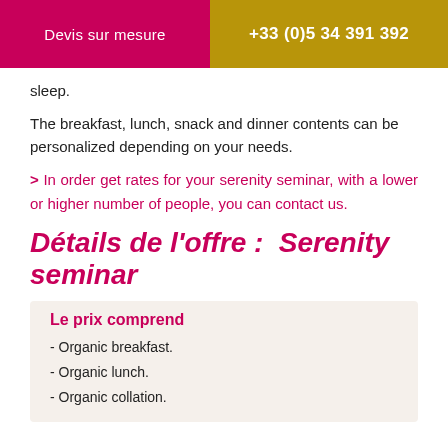Devis sur mesure | +33 (0)5 34 391 392
sleep.
The breakfast, lunch, snack and dinner contents can be personalized depending on your needs.
> In order get rates for your serenity seminar, with a lower or higher number of people, you can contact us.
Détails de l'offre :  Serenity seminar
Le prix comprend
- Organic breakfast.
- Organic lunch.
- Organic collation.